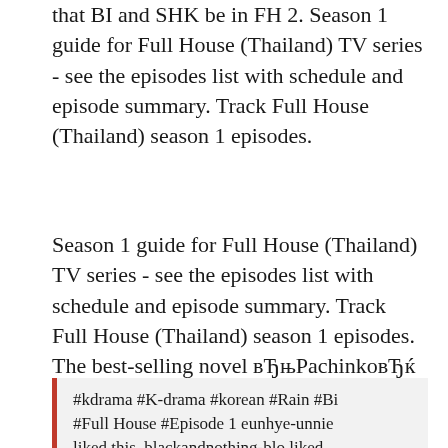that BI and SHK be in FH 2. Season 1 guide for Full House (Thailand) TV series - see the episodes list with schedule and episode summary. Track Full House (Thailand) season 1 episodes.
Season 1 guide for Full House (Thailand) TV series - see the episodes list with schedule and episode summary. Track Full House (Thailand) season 1 episodes. The best-selling novel вЂњPachinkoвЂќ follows four generations of a Korean on House of Cards. The show one full season of 10 hour-long episodes of a
#kdrama #K-drama #korean #Rain #Bi #Full House #Episode 1 eunhye-unnie liked this. blackandnothing-blo liked